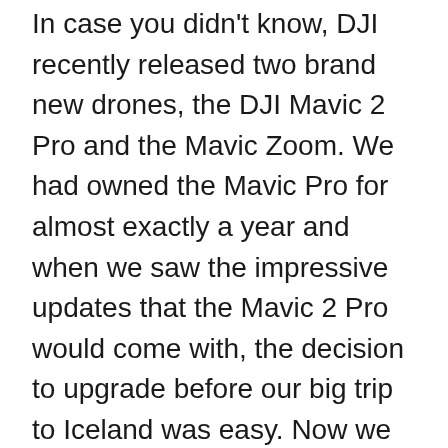In case you didn't know, DJI recently released two brand new drones, the DJI Mavic 2 Pro and the Mavic Zoom. We had owned the Mavic Pro for almost exactly a year and when we saw the impressive updates that the Mavic 2 Pro would come with, the decision to upgrade before our big trip to Iceland was easy. Now we have to be honest, we are not strictly aerial photographers, but instead are DSLR/Mirrorless shooters who love the unique nature, ease, and new artistic heights owning a drone allows us to achieve.
Aerial photography is a wonderful asset to our current work. It provides us with a new perspective on travel and landscape photography that we would never have been able to achieve from a less affordable piece of equipment...